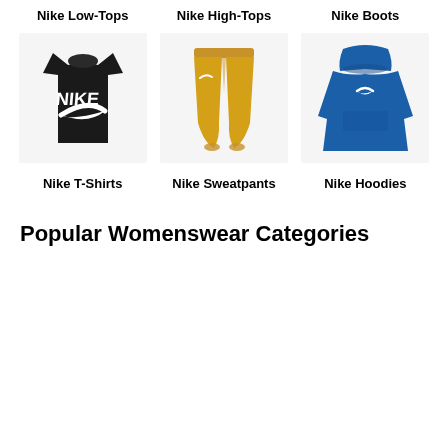Nike Low-Tops
Nike High-Tops
Nike Boots
[Figure (photo): Black Nike t-shirt with large white Nike logo/swoosh]
[Figure (photo): Yellow/golden Nike sweatpants]
[Figure (photo): Blue Nike hoodie/pullover]
Nike T-Shirts
Nike Sweatpants
Nike Hoodies
Popular Womenswear Categories